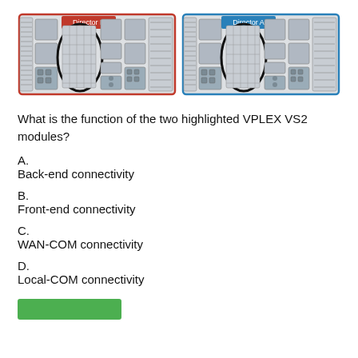[Figure (engineering-diagram): Two VPLEX VS2 chassis diagrams side by side. Left chassis labeled 'Director B' with red border, right chassis labeled 'Director A' with blue border. Both have oval highlights (black ellipses) indicating specific modules.]
What is the function of the two highlighted VPLEX VS2 modules?
A.
Back-end connectivity
B.
Front-end connectivity
C.
WAN-COM connectivity
D.
Local-COM connectivity